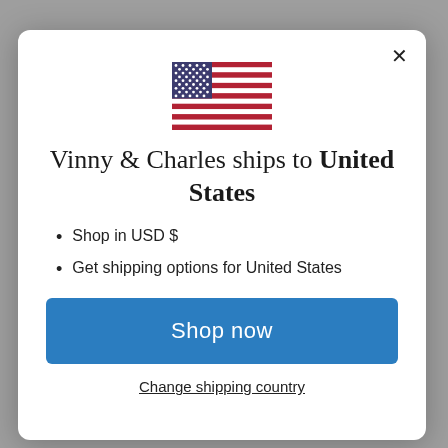[Figure (illustration): United States flag SVG illustration centered in modal]
Vinny & Charles ships to United States
Shop in USD $
Get shipping options for United States
Shop now
Change shipping country
is why we offer a 90 Day Return Policy on all of our fine jewellery pieces.